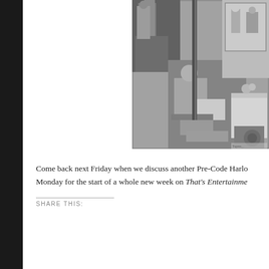[Figure (photo): Black and white vintage photograph showing a man in a suit seated and reading, with film equipment visible and a woman reflected in a mirror in the background. Appears to be a behind-the-scenes Hollywood film set photo.]
Come back next Friday when we discuss another Pre-Code Harlo... Monday for the start of a whole new week on That's Entertainme...
SHARE THIS: